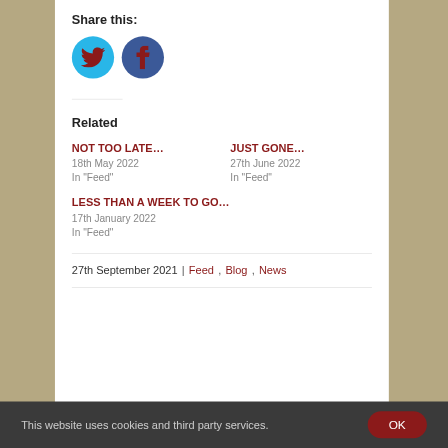Share this:
[Figure (illustration): Two circular social share buttons: Twitter (cyan/blue circle with bird icon) and Facebook (dark blue circle with F icon)]
Related
NOT TOO LATE...
18th May 2022
In "Feed"
JUST GONE...
27th June 2022
In "Feed"
LESS THAN A WEEK TO GO...
17th January 2022
In "Feed"
27th September 2021 | Feed, Blog, News
This website uses cookies and third party services.